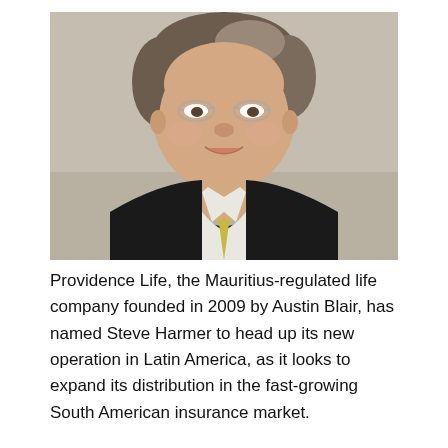[Figure (photo): Professional headshot of a middle-aged man with grey-brown hair wearing rimless glasses and a dark suit with a white shirt, smiling, against a neutral beige background.]
Providence Life, the Mauritius-regulated life company founded in 2009 by Austin Blair, has named Steve Harmer to head up its new operation in Latin America, as it looks to expand its distribution in the fast-growing South American insurance market.